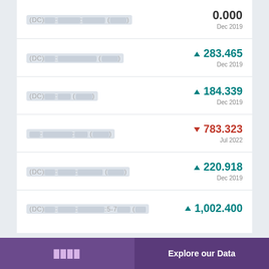(DC)██:████████:████████ (█████) — 0.000, Dec 2019
(DC)██:████████████████ (█████) — ▲ 283.465, Dec 2019
(DC)██:███ (██████) — ▲ 184.339, Dec 2019
██:██████████:███ (█████) — ▼ 783.323, Jul 2022
(DC)██:████:████████ (█████) — ▲ 220.918, Dec 2019
(DC)██:████:██████████:5-7████ (██ — ▲ 1,002.400
████ | Explore our Data